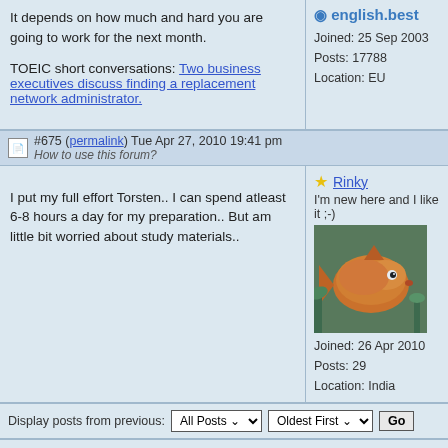It depends on how much and hard you are going to work for the next month.

TOEIC short conversations: Two business executives discuss finding a replacement network administrator.
Joined: 25 Sep 2003
Posts: 17788
Location: EU
#675 (permalink) Tue Apr 27, 2010 19:41 pm
How to use this forum?
I put my full effort Torsten.. I can spend atleast 6-8 hours a day for my preparation.. But am little bit worried about study materials..
Rinky
I'm new here and I like it ;-)
Joined: 26 Apr 2010
Posts: 29
Location: India
Display posts from previous: All Posts  Oldest First  Go
Hello! This is Dimitri from Brazil! I Wanna make friends! | Speaking English and making friends! Here is Lorena from Romania
ESL Forum | New ESL Forum Member?
Goto page Previous  1, 2, 3 ... 44, 45, 46 ... 9
Page 45 of 100